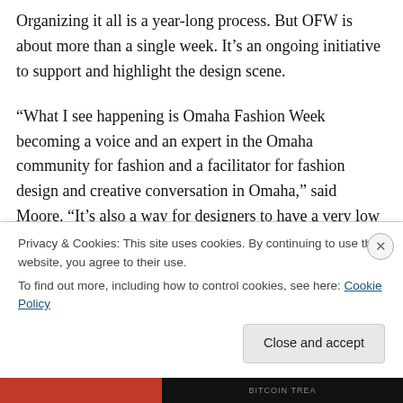Organizing it all is a year-long process. But OFW is about more than a single week. It's an ongoing initiative to support and highlight the design scene.

"What I see happening is Omaha Fashion Week becoming a voice and an expert in the Omaha community for fashion and a facilitator for fashion design and creative conversation in Omaha," said Moore. "It's also a way for designers to have a very low risk, high return opportunity to showcase their collections. Most fashion weeks charge designers to participate, but this is an open, no-cost
Privacy & Cookies: This site uses cookies. By continuing to use this website, you agree to their use.
To find out more, including how to control cookies, see here: Cookie Policy